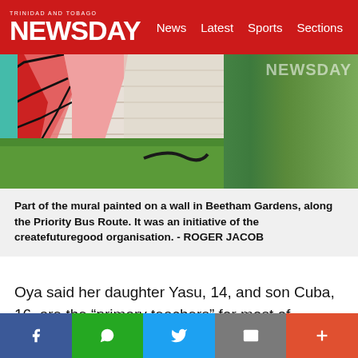TRINIDAD AND TOBAGO NEWSDAY | News | Latest | Sports | Sections
[Figure (photo): Mural painted on a wall in Beetham Gardens along the Priority Bus Route, showing colorful graffiti art on a brick wall with grass in the foreground. NEWSDAY watermark visible.]
Part of the mural painted on a wall in Beetham Gardens, along the Priority Bus Route. It was an initiative of the createfuturegood organisation. - ROGER JACOB
Oya said her daughter Yasu, 14, and son Cuba, 16, are the “primary teachers” for most of createfuturegood’s work. Yasu connects with participants and pays particular attention to children in the organisation’s projects. Cuba has